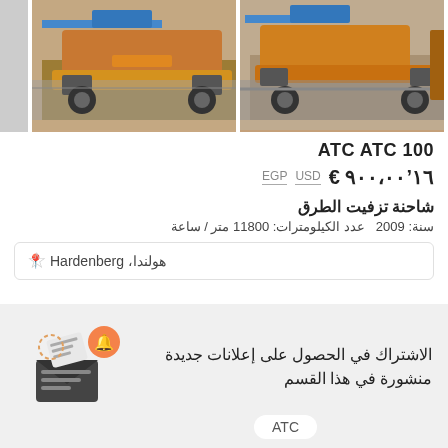[Figure (photo): Two photos of an orange road paving/asphalt machine (ATC 100) shown side by side from different angles, parked on a concrete surface.]
ATC ATC 100
€ 16'900,00  USD  EGP
شاحنة تزفيت الطرق
سنة: 2009  عدد الكيلومترات: 11800 متر / ساعة
هولندا، Hardenberg
الاشتراك في الحصول على إعلانات جديدة منشورة في هذا القسم
ATC
أدخل البريد الإلكتروني الخاص